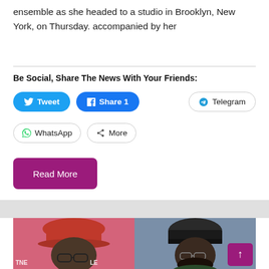ensemble as she headed to a studio in Brooklyn, New York, on Thursday. accompanied by her
Be Social, Share The News With Your Friends:
Tweet  Share 1  Telegram  WhatsApp  More
Read More
[Figure (photo): Two-panel photo strip showing two men side by side. Left panel: man wearing a red hat and glasses against a pink background with partial text 'TNE' and 'LE'. Right panel: bearded man wearing a dark cap against a grey-blue background.]